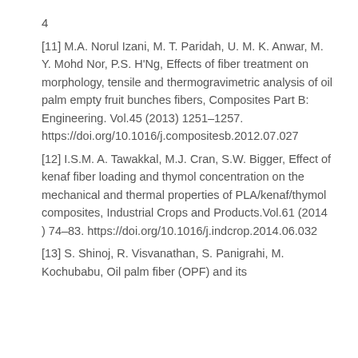4
[11] M.A. Norul Izani, M. T. Paridah, U. M. K. Anwar, M. Y. Mohd Nor, P.S. H'Ng, Effects of fiber treatment on morphology, tensile and thermogravimetric analysis of oil palm empty fruit bunches fibers, Composites Part B: Engineering. Vol.45 (2013) 1251–1257. https://doi.org/10.1016/j.compositesb.2012.07.027
[12] I.S.M. A. Tawakkal, M.J. Cran, S.W. Bigger, Effect of kenaf fiber loading and thymol concentration on the mechanical and thermal properties of PLA/kenaf/thymol composites, Industrial Crops and Products.Vol.61 (2014 ) 74–83. https://doi.org/10.1016/j.indcrop.2014.06.032
[13] S. Shinoj, R. Visvanathan, S. Panigrahi, M. Kochubabu, Oil palm fiber (OPF) and its